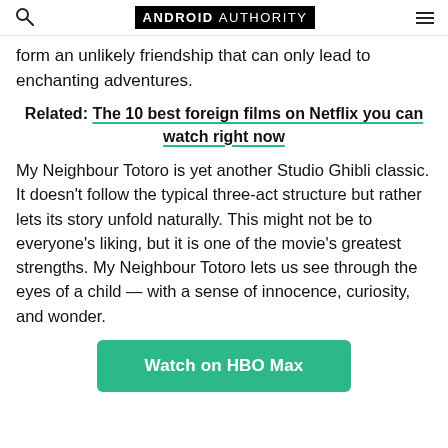ANDROID AUTHORITY
form an unlikely friendship that can only lead to enchanting adventures.
Related: The 10 best foreign films on Netflix you can watch right now
My Neighbour Totoro is yet another Studio Ghibli classic. It doesn't follow the typical three-act structure but rather lets its story unfold naturally. This might not be to everyone's liking, but it is one of the movie's greatest strengths. My Neighbour Totoro lets us see through the eyes of a child — with a sense of innocence, curiosity, and wonder.
Watch on HBO Max